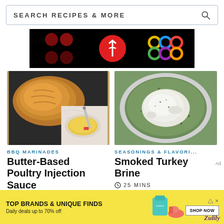[Figure (screenshot): Search bar with text SEARCH RECIPES & MORE and a magnifying glass icon]
[Figure (photo): Advertisement banner with black background, dark red dots, red circle logo with white mark, and colorful interlocking circles logo]
[Figure (photo): Photo of roasted poultry on a dark tray with a small bowl of golden butter sauce and a red meat injector syringe]
BBQ MARINADES
Butter-Based Poultry Injection Sauce
[Figure (photo): Photo of a whole turkey submerged in green herb brine in a white/grey round pot, viewed from above]
SEASONINGS & FLAVORI...
Smoked Turkey Brine
25 MINS
[Figure (photo): Advertisement banner with yellow background showing TOP BRANDS & UNIQUE FINDS, Daily deals up to 70% off, colorful shoe/bag images, SHOP NOW button, Zulily logo]